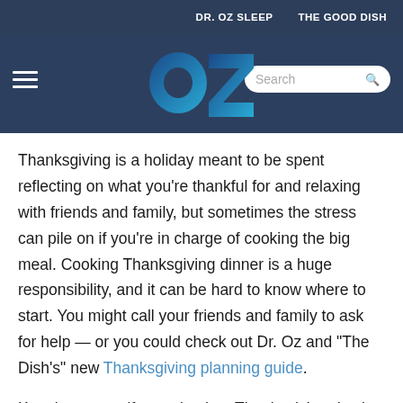DR. OZ SLEEP    THE GOOD DISH
[Figure (logo): OZ logo in blue gradient with hamburger menu and search bar on dark blue navigation bar]
Thanksgiving is a holiday meant to be spent reflecting on what you're thankful for and relaxing with friends and family, but sometimes the stress can pile on if you're in charge of cooking the big meal. Cooking Thanksgiving dinner is a huge responsibility, and it can be hard to know where to start. You might call your friends and family to ask for help — or you could check out Dr. Oz and "The Dish's" new Thanksgiving planning guide.
Keeping yourself organized on Thanksgiving day is a task in itself; watching my family members plan dinner all these years has me dreading the day I have to do it on my own. How do you know what kind of turkey to buy? How many side dishes you should